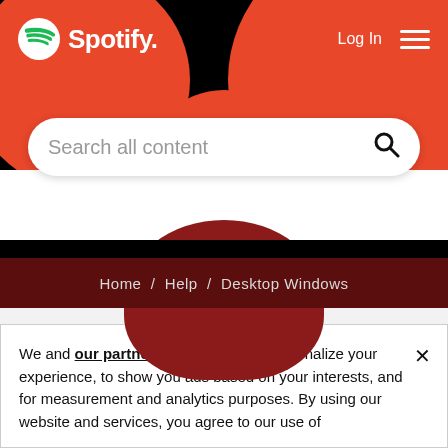[Figure (screenshot): Spotify website header with black background, two red decorative circles, Spotify logo (icon + wordmark) top left, Log In text and hamburger menu top right]
[Figure (screenshot): Search bar with placeholder text 'Search all content' and magnifying glass icon on white rounded pill background]
Home / Help / Desktop Windows
Topics with Label: report
We and our partners use cookies to personalize your experience, to show you ads based on your interests, and for measurement and analytics purposes. By using our website and services, you agree to our use of